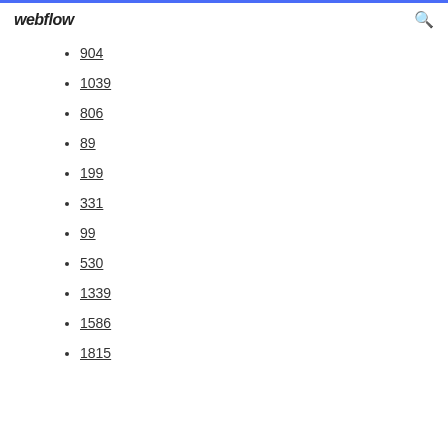webflow
904
1039
806
89
199
331
99
530
1339
1586
1815